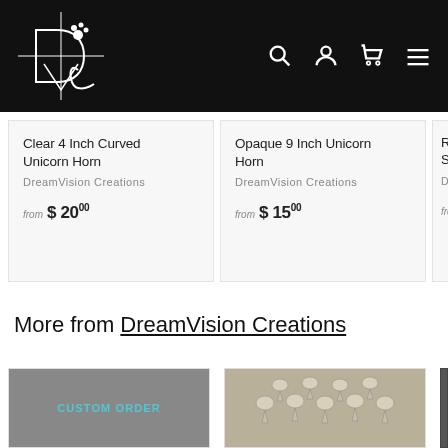[Figure (logo): DreamVision Creations logo — stylized D&C monogram in white on black background with paw print, plus search, account, cart, and menu icons]
Clear 4 Inch Curved Unicorn Horn
DreamVision Creations
from $20.00
Opaque 9 Inch Unicorn Horn
DreamVision Creations
from $15.00
Red Sh...
DreamV...
from $...
More from DreamVision Creations
[Figure (photo): Custom Order product card with dark gray overlay and teal text reading CUSTOM ORDER]
[Figure (photo): Bird skull / plague mask shaped resin charms arranged in a grid, cream/white and gray colors]
[Figure (photo): Partially visible third product image with dark gray background]